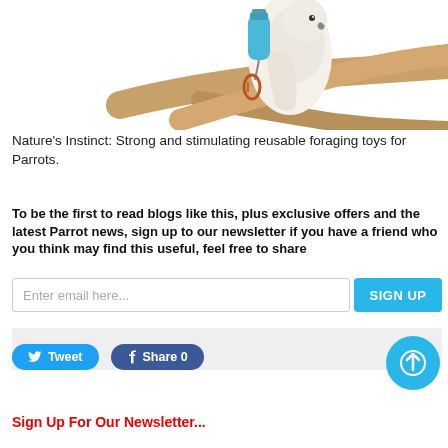[Figure (photo): Close-up photo of a parrot perched on a wooden branch with a blue foraging toy attached by a carabiner clip, against a white background.]
Nature's Instinct: Strong and stimulating reusable foraging toys for Parrots.
To be the first to read blogs like this, plus exclusive offers and the latest Parrot news, sign up to our newsletter if you have a friend who you think may find this useful, feel free to share
Sign Up For Our Newsletter...